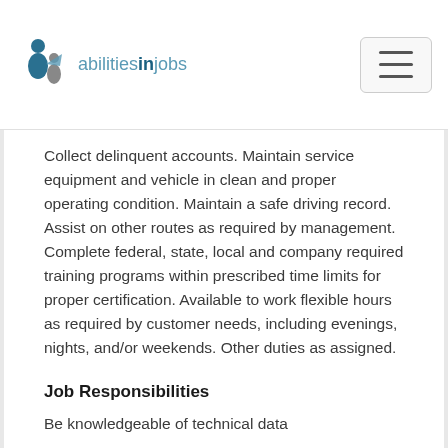abilitiesinjobs
Collect delinquent accounts. Maintain service equipment and vehicle in clean and proper operating condition. Maintain a safe driving record. Assist on other routes as required by management. Complete federal, state, local and company required training programs within prescribed time limits for proper certification. Available to work flexible hours as required by customer needs, including evenings, nights, and/or weekends. Other duties as assigned.
Job Responsibilities
Be knowledgeable of technical data